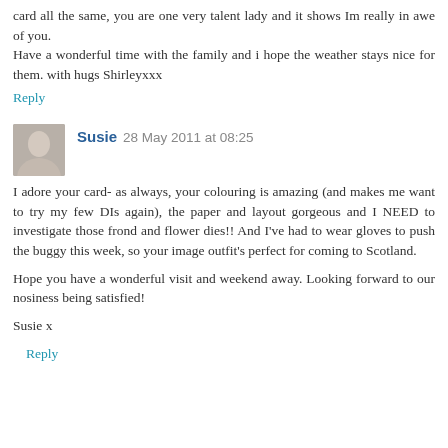card all the same, you are one very talent lady and it shows Im really in awe of you. Have a wonderful time with the family and i hope the weather stays nice for them. with hugs Shirleyxxx
Reply
Susie 28 May 2011 at 08:25
I adore your card- as always, your colouring is amazing (and makes me want to try my few DIs again), the paper and layout gorgeous and I NEED to investigate those frond and flower dies!! And I've had to wear gloves to push the buggy this week, so your image outfit's perfect for coming to Scotland.

Hope you have a wonderful visit and weekend away. Looking forward to our nosiness being satisfied!

Susie x
Reply